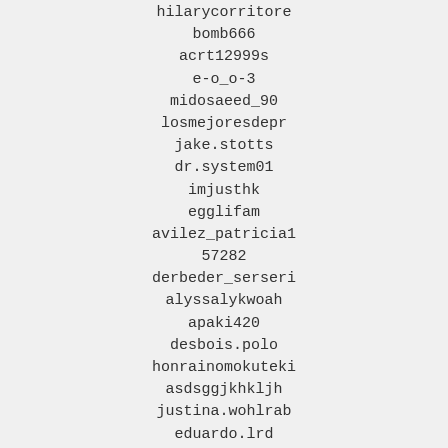hilarycorritore
bomb666
acrt12999s
e-o_o-3
midosaeed_90
losmejoresdepr
jake.stotts
dr.system01
imjusthk
egglifam
avilez_patricia1
57282
derbeder_serseri
alyssalykwoah
apaki420
desbois.polo
honrainomokuteki
asdsggjkhkljh
justina.wohlrab
eduardo.lrd
harithah947
arsenallad4life
lorna.espinosa30
a8290687
mirandzia2323